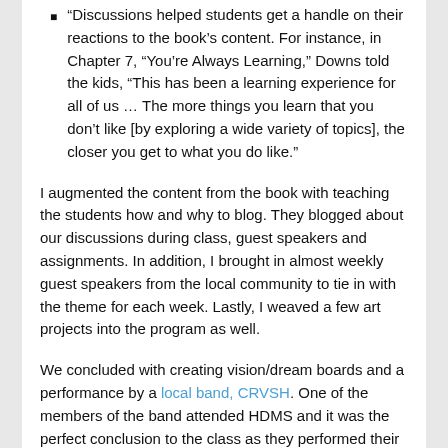“Discussions helped students get a handle on their reactions to the book’s content. For instance, in Chapter 7, “You’re Always Learning,” Downs told the kids, “This has been a learning experience for all of us … The more things you learn that you don’t like [by exploring a wide variety of topics], the closer you get to what you do like.”
I augmented the content from the book with teaching the students how and why to blog. They blogged about our discussions during class, guest speakers and assignments. In addition, I brought in almost weekly guest speakers from the local community to tie in with the theme for each week. Lastly, I weaved a few art projects into the program as well.
We concluded with creating vision/dream boards and a performance by a local band, CRVSH. One of the members of the band attended HDMS and it was the perfect conclusion to the class as they performed their song, “No Givin’ Up”. The last chapter of the book is titled